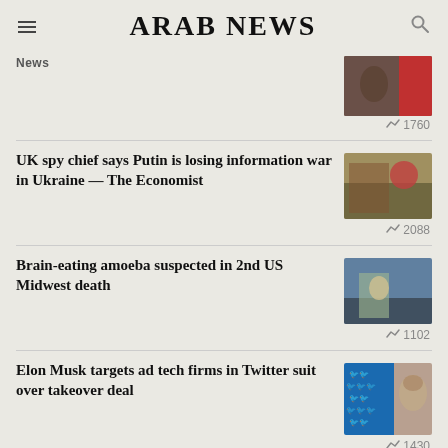ARAB NEWS
News
1760
UK spy chief says Putin is losing information war in Ukraine — The Economist
2088
Brain-eating amoeba suspected in 2nd US Midwest death
1102
Elon Musk targets ad tech firms in Twitter suit over takeover deal
1430